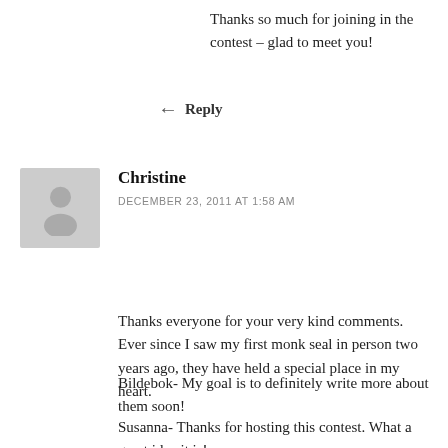Thanks so much for joining in the contest – glad to meet you!
Reply
Christine
DECEMBER 23, 2011 AT 1:58 AM
Thanks everyone for your very kind comments. Ever since I saw my first monk seal in person two years ago, they have held a special place in my heart.
Bildebok- My goal is to definitely write more about them soon!
Susanna- Thanks for hosting this contest. What a great idea it is!